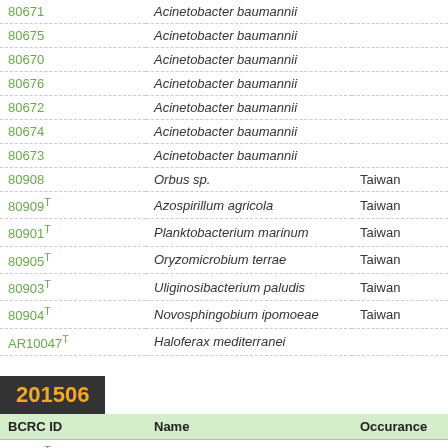| BCRC ID | Name | Occurance |
| --- | --- | --- |
| 80671 | Acinetobacter baumannii |  |
| 80675 | Acinetobacter baumannii |  |
| 80670 | Acinetobacter baumannii |  |
| 80676 | Acinetobacter baumannii |  |
| 80672 | Acinetobacter baumannii |  |
| 80674 | Acinetobacter baumannii |  |
| 80673 | Acinetobacter baumannii |  |
| 80908 | Orbus sp. | Taiwan |
| 80909T | Azospirillum agricola | Taiwan |
| 80901T | Planktobacterium marinum | Taiwan |
| 80905T | Oryzomicrobium terrae | Taiwan |
| 80903T | Uliginosibacterium paludis | Taiwan |
| 80904T | Novosphingobium ipomoeae | Taiwan |
| AR10047T | Haloferax mediterranei |  |
201506
| BCRC ID | Name | Occurance |
| --- | --- | --- |
| 80460T | Lactococcus taiwanensis |  |
201505